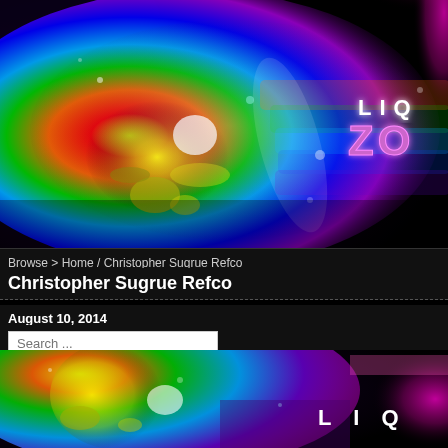[Figure (illustration): Colorful abstract paint splash banner with rainbow colors on dark background, with logo text 'LIQ ZO' in upper right]
Browse > Home / Christopher Sugrue Refco
Christopher Sugrue Refco
August 10, 2014
Search ...
[Figure (illustration): Partial colorful abstract paint splash banner repeated at bottom with rainbow and pink/magenta colors, partial 'LIQ' text visible]